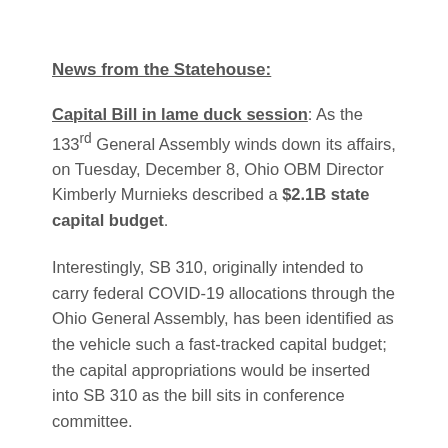News from the Statehouse:
Capital Bill in lame duck session: As the 133rd General Assembly winds down its affairs, on Tuesday, December 8, Ohio OBM Director Kimberly Murnieks described a $2.1B state capital budget.
Interestingly, SB 310, originally intended to carry federal COVID-19 allocations through the Ohio General Assembly, has been identified as the vehicle such a fast-tracked capital budget; the capital appropriations would be inserted into SB 310 as the bill sits in conference committee.
Hearings are scheduled for the week of